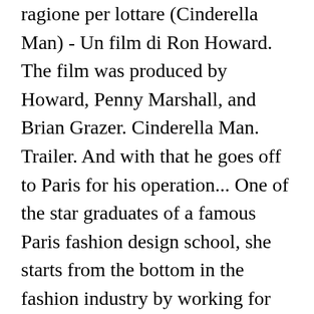ragione per lottare (Cinderella Man) - Un film di Ron Howard. The film was produced by Howard, Penny Marshall, and Brian Grazer. Cinderella Man. Trailer. And with that he goes off to Paris for his operation... One of the star graduates of a famous Paris fashion design school, she starts from the bottom in the fashion industry by working for Dae-san when her father, a clothes wholesaler, suddenly passes away. Find many great new & used options and get the best deals for Cinderella Man _ Korean Drama _ English Sub _ DVD _ All Region _ Kwon Sang-woo at the best online prices at ... Leggi sul sito la trama e tutte le frasi più belle del film. K Cinderella TV. Drammatico, USA. 2005. Start 7-Day Free Trial. Cinderella